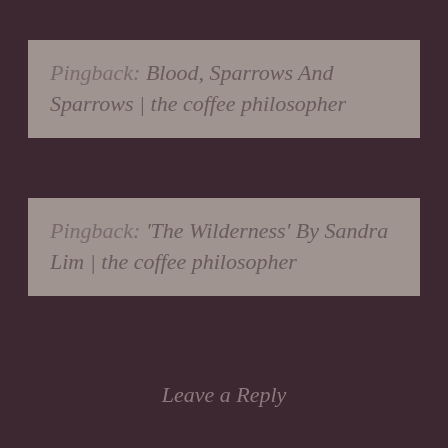Pingback: Blood, Sparrows And Sparrows | the coffee philosopher
Pingback: ‘The Wilderness’ By Sandra Lim | the coffee philosopher
Leave a Reply
Your email address will not be published.
Required fields are marked *